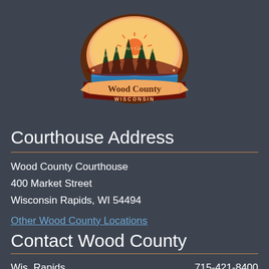[Figure (logo): Wood County Wisconsin logo — oval seal with trees, sunset, river, maple leaf, and text 'Good Times Are Carved In' and 'Wood County WISCONSIN' on banner]
Courthouse Address
Wood County Courthouse
400 Market Street
Wisconsin Rapids, WI 54494
Other Wood County Locations
Contact Wood County
| Wis. Rapids | 715-421-8400 |
| Marshfield | 715-387-3791 |
| Pittsville | 715-884-6479 |